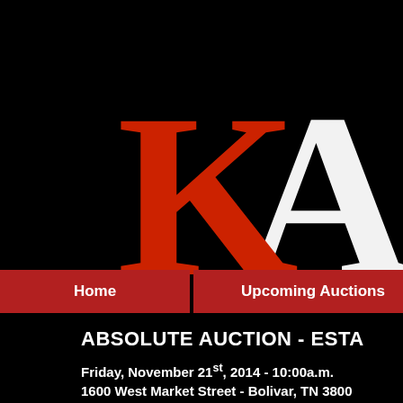[Figure (logo): Large stylized red letter K overlapping a white letter A on a black background — auction company logo]
Home
Upcoming Auctions
Real E[state]
ABSOLUTE AUCTION - ESTA[TE]
Friday, November 21st, 2014 - 10:00a.m.
1600 West Market Street - Bolivar, TN 380[0...]